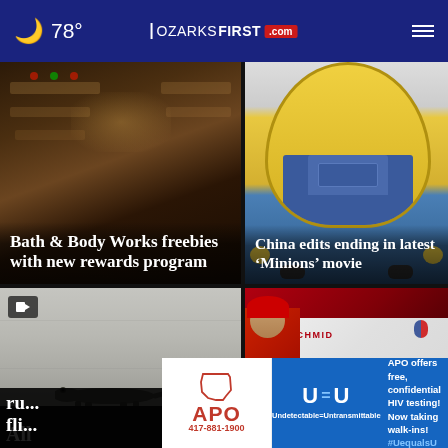🌙 78° | OZARKSFIRST.com
[Figure (photo): Bath and Body Works store interior at night, dark background]
Bath & Body Works freebies with new rewards program
[Figure (photo): Minion characters in yellow costume from the movie, blue denim overalls]
China edits ending in latest 'Minions' movie
[Figure (photo): Alligator walking across a wet surface, gray rainy background, video icon overlay]
[Figure (photo): St. Louis Cardinals players, Goldschmidt jersey number 46]
Alli... ru... fli...
...33 features...
[Figure (other): APO advertisement banner: APO 417-881-1900, U=U Undetectable=Untransmittable, APO offers free, confidential HIV testing! Now taking walk-ins! #UequalsU]